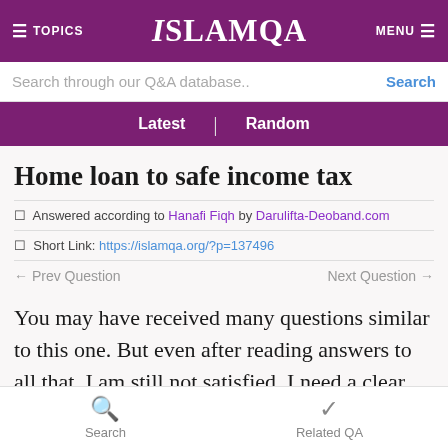TOPICS   IslamQA   MENU
Search through our Q&A database..
Latest   Random
Home loan to safe income tax
☀ Answered according to Hanafi Fiqh by Darulifta-Deoband.com
☀ Short Link: https://islamqa.org/?p=137496
← Prev Question    Next Question →
You may have received many questions similar to this one. But even after reading answers to all that, I am still not satisfied. I need a clear cut answer to my query. I
Search   Related QA